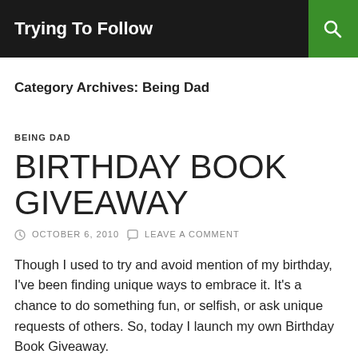Trying To Follow
Category Archives: Being Dad
BEING DAD
BIRTHDAY BOOK GIVEAWAY
OCTOBER 6, 2010   LEAVE A COMMENT
Though I used to try and avoid mention of my birthday, I've been finding unique ways to embrace it. It's a chance to do something fun, or selfish, or ask unique requests of others. So, today I launch my own Birthday Book Giveaway.